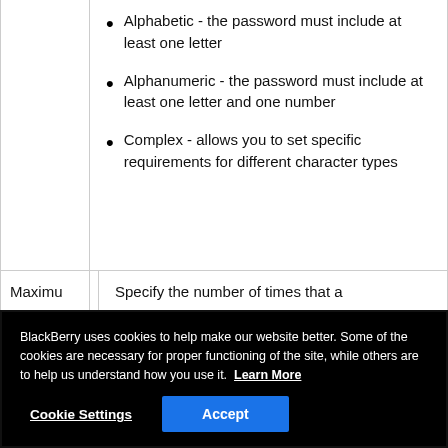Alphabetic - the password must include at least one letter
Alphanumeric - the password must include at least one letter and one number
Complex - allows you to set specific requirements for different character types
| Maximu | Specify the number of times that a |
BlackBerry uses cookies to help make our website better. Some of the cookies are necessary for proper functioning of the site, while others are to help us understand how you use it. Learn More
Cookie Settings | Accept